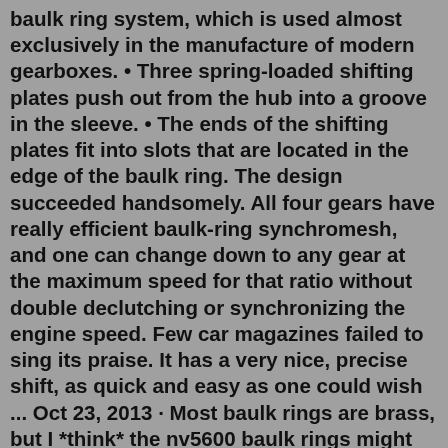baulk ring system, which is used almost exclusively in the manufacture of modern gearboxes. • Three spring-loaded shifting plates push out from the hub into a groove in the sleeve. • The ends of the shifting plates fit into slots that are located in the edge of the baulk ring. The design succeeded handsomely. All four gears have really efficient baulk-ring synchromesh, and one can change down to any gear at the maximum speed for that ratio without double declutching or synchronizing the engine speed. Few car magazines failed to sing its praise. It has a very nice, precise shift, as quick and easy as one could wish ... Oct 23, 2013 · Most baulk rings are brass, but I *think* the nv5600 baulk rings might be bronze. The big difference with the nv5600 is that the baulk ring has ribs on BOTH sides. A separate steel part has the tab slots and teeth for the synchro collar to engage. It works on the same principle. Competition performance Baulk (synchro) ring, strong and durable, for use in all 4 speed synchromesh gearboxes. ** Sold as single units ** GBT9501